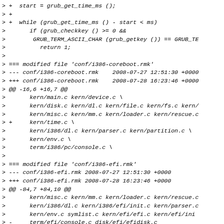> +  start = grub_get_time_ms ();
> +
> +  while (grub_get_time_ms () - start < ms)
>       if (grub_checkkey () >= 0 &&
>        GRUB_TERM_ASCII_CHAR (grub_getkey ()) == GRUB_TE
>          return 1;
>
> === modified file 'conf/i386-coreboot.rmk'
> --- conf/i386-coreboot.rmk    2008-07-27 12:51:30 +0000
> +++ conf/i386-coreboot.rmk    2008-07-28 16:23:46 +0000
> @@ -16,6 +16,7 @@
>       kern/main.c kern/device.c \
>       kern/disk.c kern/dl.c kern/file.c kern/fs.c kern/
>       kern/misc.c kern/mm.c kern/loader.c kern/rescue.c
> +     kern/time.c \
>       kern/i386/dl.c kern/parser.c kern/partition.c \
>       kern/env.c \
>       term/i386/pc/console.c \
>
> === modified file 'conf/i386-efi.rmk'
> --- conf/i386-efi.rmk 2008-07-27 12:51:30 +0000
> +++ conf/i386-efi.rmk 2008-07-28 16:23:46 +0000
> @@ -84,7 +84,10 @@
>       kern/misc.c kern/mm.c kern/loader.c kern/rescue.c
>       kern/i386/dl.c kern/i386/efi/init.c kern/parser.c
>       kern/env.c symlist.c kern/efi/efi.c kern/efi/ini
> -     term/efi/console.c disk/efi/efidisk.c
> +     term/efi/console.c disk/efi/efidisk.c \
> +     kern/i386/tsc.c \
> +     kern/generic/rtc_get_time_ms.c \